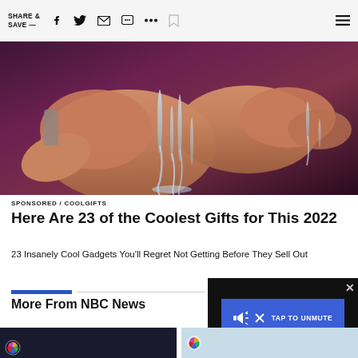SHARE & SAVE —
[Figure (photo): Close-up photo of hands with water streaming through the fingers against a dark purple/maroon background]
SPONSORED / COOLGIFTS
Here Are 23 of the Coolest Gifts for This 2022
23 Insanely Cool Gadgets You'll Regret Not Getting Before They Sell Out
More From NBC News
[Figure (screenshot): Video ad overlay with blue button showing speaker/mute icon and TAP TO UNMUTE text, with X close button]
[Figure (photo): NBC News thumbnail images at bottom of page]